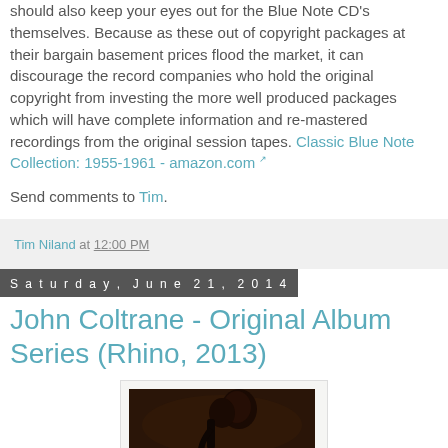should also keep your eyes out for the Blue Note CD's themselves. Because as these out of copyright packages at their bargain basement prices flood the market, it can discourage the record companies who hold the original copyright from investing the more well produced packages which will have complete information and re-mastered recordings from the original session tapes. Classic Blue Note Collection: 1955-1961 - amazon.com
Send comments to Tim.
Tim Niland at 12:00 PM
Saturday, June 21, 2014
John Coltrane - Original Album Series (Rhino, 2013)
[Figure (photo): Photo of a jazz musician playing saxophone, dark background with warm brown tones]